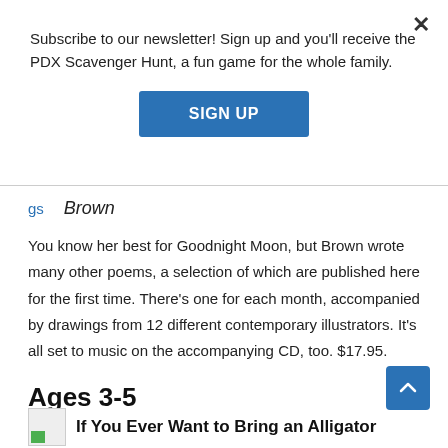Subscribe to our newsletter! Sign up and you'll receive the PDX Scavenger Hunt, a fun game for the whole family.
SIGN UP
gs
Brown
You know her best for Goodnight Moon, but Brown wrote many other poems, a selection of which are published here for the first time. There’s one for each month, accompanied by drawings from 12 different contemporary illustrators. It’s all set to music on the accompanying CD, too. $17.95.
Ages 3-5
If You Ever Want to Bring an Alligator